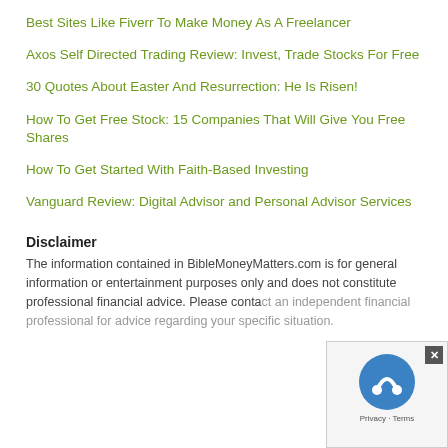Best Sites Like Fiverr To Make Money As A Freelancer
Axos Self Directed Trading Review: Invest, Trade Stocks For Free
30 Quotes About Easter And Resurrection: He Is Risen!
How To Get Free Stock: 15 Companies That Will Give You Free Shares
How To Get Started With Faith-Based Investing
Vanguard Review: Digital Advisor and Personal Advisor Services
Disclaimer
The information contained in BibleMoneyMatters.com is for general information or entertainment purposes only and does not constitute professional financial advice. Please contact an independent financial professional for advice regarding your specific situation.